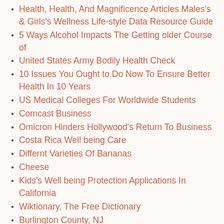Health, Health, And Magnificence Articles Males's & Girls's Wellness Life-style Data Resource Guide
5 Ways Alcohol Impacts The Getting older Course of
United States Army Bodily Health Check
10 Issues You Ought to Do Now To Ensure Better Health In 10 Years
US Medical Colleges For Worldwide Students
Comcast Business
Omicron Hinders Hollywood's Return To Business
Costa Rica Well being Care
Differnt Varieties Of Bananas
Cheese
Kids's Well being Protection Applications In California
Wiktionary, The Free Dictionary
Burlington County, NJ
Quandary Pond
All Articles
How Traditional Chinese language Health Beliefs And Chinese language Culture Influence Health